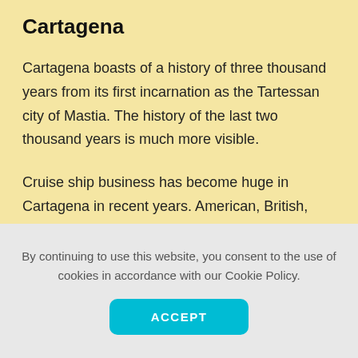Cartagena
Cartagena boasts of a history of three thousand years from its first incarnation as the Tartessan city of Mastia. The history of the last two thousand years is much more visible.
Cruise ship business has become huge in Cartagena in recent years. American, British, German and Dutch visitors are a common sight. The deep waters of the port allow even the largest liners to enter. Visitors are all…
By continuing to use this website, you consent to the use of cookies in accordance with our Cookie Policy.
ACCEPT